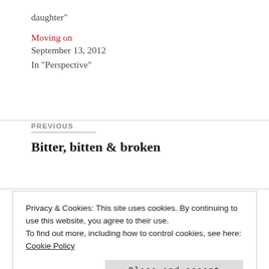daughter"
Moving on
September 13, 2012
In "Perspective"
PREVIOUS
Bitter, bitten & broken
Privacy & Cookies: This site uses cookies. By continuing to use this website, you agree to their use.
To find out more, including how to control cookies, see here: Cookie Policy
Close and accept
42 thoughts on “We shall